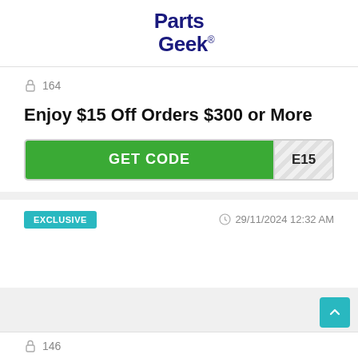[Figure (logo): Parts Geek logo in dark navy blue bold text]
🔒 164
Enjoy $15 Off Orders $300 or More
GET CODE   E15
EXCLUSIVE   29/11/2024 12:32 AM
🔒 146